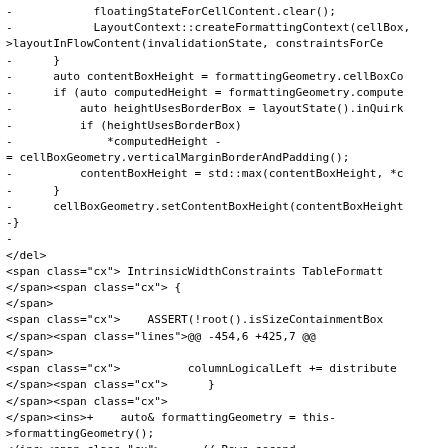Code diff showing C++ and HTML/XML source code with deleted lines (prefixed with -) and context lines including floatingStateForCellContent.clear(), LayoutContext::createFormattingContext, layoutInFlowContent, contentBoxHeight calculations, cellBoxGeometry operations, followed by HTML span and ins tags with class attributes showing IntrinsicWidthConstraints TableFormatter, ASSERT(!root().isSizeContainmentBox), columnLogicalLeft += distribute, formattingGeometry(), Rows second., and auto& rows = grid.rows().list();